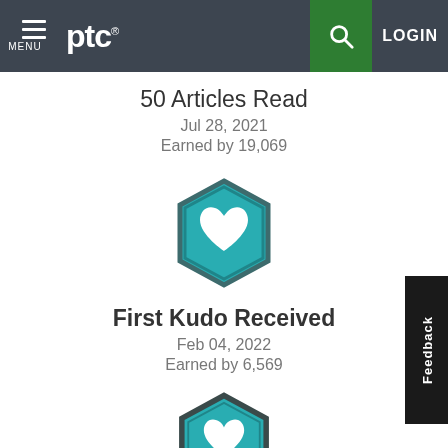MENU | ptc® | LOGIN
50 Articles Read
Jul 28, 2021
Earned by 19,069
[Figure (illustration): Hexagon badge with white heart icon on teal/dark teal background — First Kudo Received badge]
First Kudo Received
Feb 04, 2022
Earned by 6,569
[Figure (illustration): Hexagon badge with white heart icon and number 10 on teal/dark teal background — second kudo badge (10 kudos)]